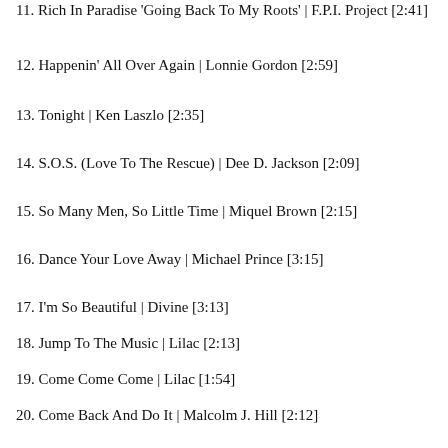11. Rich In Paradise 'Going Back To My Roots' | F.P.I. Project [2:41]
12. Happenin' All Over Again | Lonnie Gordon [2:59]
13. Tonight | Ken Laszlo [2:35]
14. S.O.S. (Love To The Rescue) | Dee D. Jackson [2:09]
15. So Many Men, So Little Time | Miquel Brown [2:15]
16. Dance Your Love Away | Michael Prince [3:15]
17. I'm So Beautiful | Divine [3:13]
18. Jump To The Music | Lilac [2:13]
19. Come Come Come | Lilac [1:54]
20. Come Back And Do It | Malcolm J. Hill [2:12]
21. Walkie Talkie | King Kong & D.Jungle Girls [2:33]
22. Power Of Magic | Alphatown [2:49]